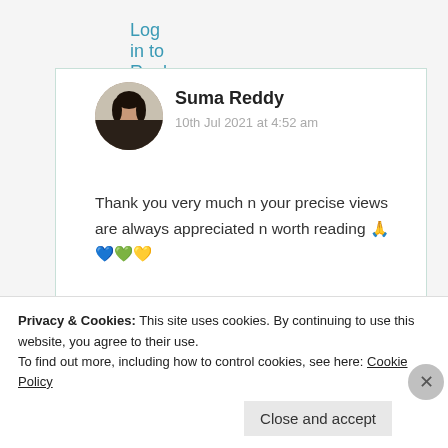Log in to Reply
[Figure (photo): Circular avatar photo of Suma Reddy, a young woman with dark hair]
Suma Reddy
10th Jul 2021 at 4:52 am
Thank you very much n your precise views are always appreciated n worth reading 🙏💙💚💛
Privacy & Cookies: This site uses cookies. By continuing to use this website, you agree to their use.
To find out more, including how to control cookies, see here: Cookie Policy
Close and accept